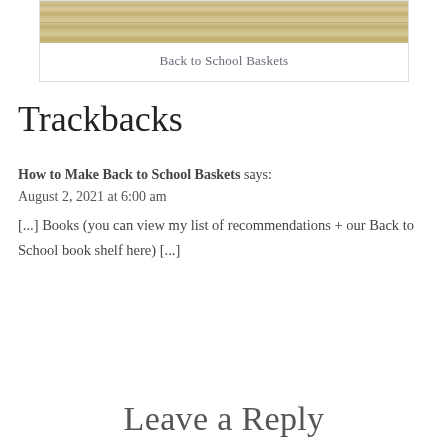[Figure (photo): Partial view of a wooden surface / Back to School Baskets image card with caption]
Back to School Baskets
Trackbacks
How to Make Back to School Baskets says:
August 2, 2021 at 6:00 am
[...] Books (you can view my list of recommendations + our Back to School book shelf here) [...]
Leave a Reply